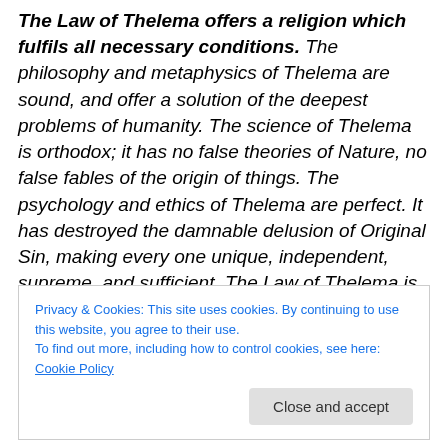The Law of Thelema offers a religion which fulfils all necessary conditions. The philosophy and metaphysics of Thelema are sound, and offer a solution of the deepest problems of humanity. The science of Thelema is orthodox; it has no false theories of Nature, no false fables of the origin of things. The psychology and ethics of Thelema are perfect. It has destroyed the damnable delusion of Original Sin, making every one unique, independent, supreme, and sufficient. The Law of Thelema is given in the Book of the Law."
Privacy & Cookies: This site uses cookies. By continuing to use this website, you agree to their use. To find out more, including how to control cookies, see here: Cookie Policy
Close and accept